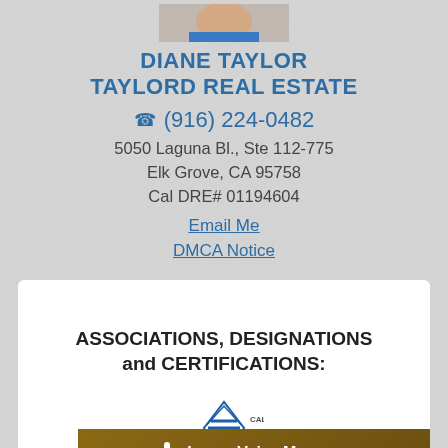[Figure (photo): Partial view of a woman in a blue top, professional headshot photo cropped at top]
DIANE TAYLOR
TAYLORD REAL ESTATE
(916) 224-0482
5050 Laguna Bl., Ste 112-775
Elk Grove, CA 95758
Cal DRE# 01194604
Email Me
DMCA Notice
ASSOCIATIONS, DESIGNATIONS and CERTIFICATIONS:
[Figure (logo): California Association of Realtors logo (partial) - blue diamond shape with CA text]
Leave Voice Message